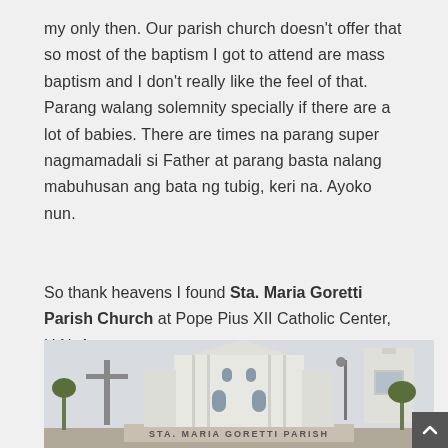my only then. Our parish church doesn't offer that so most of the baptism I got to attend are mass baptism and I don't really like the feel of that. Parang walang solemnity specially if there are a lot of babies. There are times na parang super nagmamadali si Father at parang basta nalang mabuhusan ang bata ng tubig, keri na. Ayoko nun.
So thank heavens I found Sta. Maria Goretti Parish Church at Pope Pius XII Catholic Center, U.N. Ave.
[Figure (photo): Exterior photo of Sta. Maria Goretti Parish church building — a white modern church with a cross on the left side, tall vertical facade, arched windows, and a sign reading STA. MARIA GORETTI PARISH at the bottom]